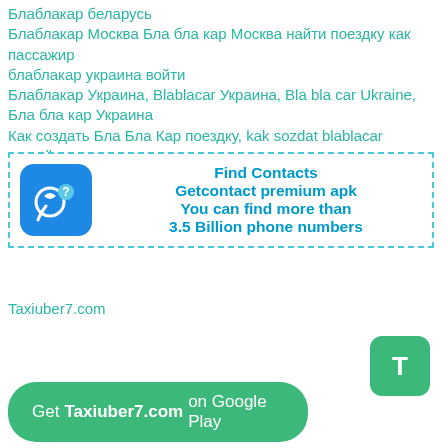Блаблакар беларусь
Блаблакар Москва Бла бла кар Москва найти поездку как пассажир
блаблакар украина войти
Блаблакар Украина, Blablacar Украина, Bla bla car Ukraine, Бла бла кар Украина
Как создать Бла Бла Кар поездку, kak sozdat blablacar poezdku
[Figure (infographic): Advertisement box with dashed border containing a blue rounded square phone icon and text: Find Contacts, Getcontact premium apk, You can find more than 3.5 Billion phone numbers]
Taxiuber7.com
[Figure (infographic): Green rounded square button with letter T]
Get Taxiuber7.com on Google Play